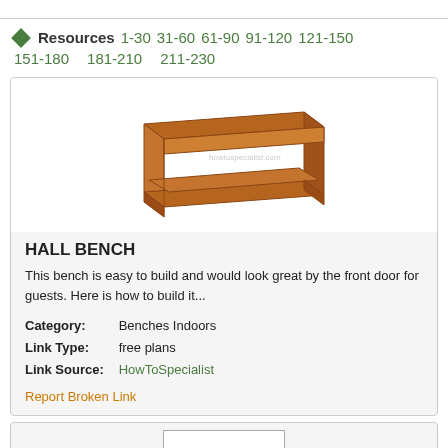◆ Resources 1-30 31-60 61-90 91-120 121-150 151-180 181-210 211-230
[Figure (illustration): 3D illustration of a wooden hall bench with open shelf underneath]
HALL BENCH
This bench is easy to build and would look great by the front door for guests. Here is how to build it...
Category: Benches Indoors
Link Type: free plans
Link Source: HowToSpecialist
Report Broken Link